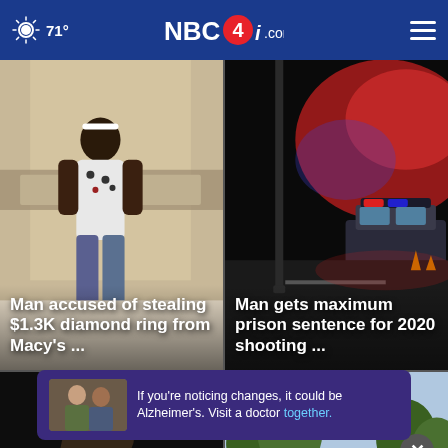71° NBC4i.com
[Figure (photo): Man in white patterned t-shirt walking inside a mall jewelry store, security camera footage]
Man accused of stealing $1.3K diamond ring from Macy's ...
[Figure (photo): Night scene with police car lights illuminating a street]
Man gets maximum prison sentence for 2020 shooting ...
[Figure (photo): Person with hand raised in dark setting]
[Figure (photo): Outdoor sign for a building, trees in background, video thumbnail with play button]
If you're noticing changes, it could be Alzheimer's. Visit a doctor together.